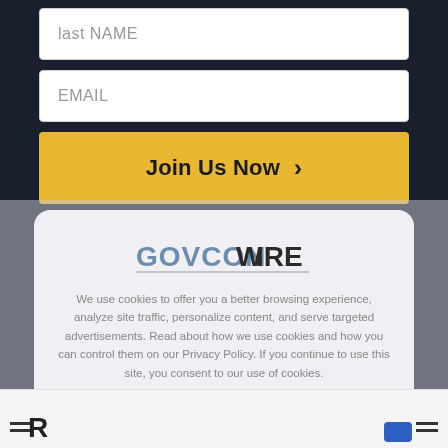last NAME
EMAIL
Join Us Now ›
[Figure (logo): GovConWire logo — GOVCON in blue/gray, WIRE in dark gray, with underline]
We use cookies to offer you a better browsing experience, analyze site traffic, personalize content, and serve targeted advertisements. Read about how we use cookies and how you can control them on our Privacy Policy. If you continue to use this site, you consent to our use of cookies.
×
R